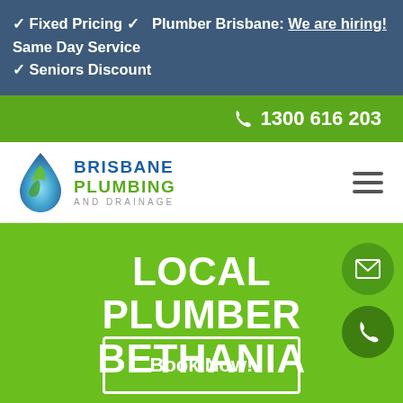✓ Fixed Pricing ✓ Same Day Service ✓ Seniors Discount | Plumber Brisbane: We are hiring!
📞 1300 616 203
[Figure (logo): Brisbane Plumbing and Drainage logo with blue and green water drop icon]
LOCAL PLUMBER BETHANIA
Book Now!